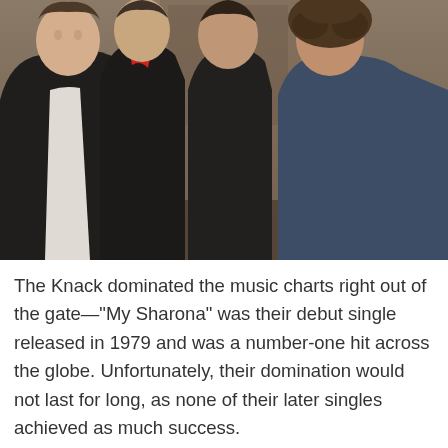[Figure (photo): A photograph of four men (The Knack) standing together outdoors, all wearing dark jackets. The man on the far left wears a white shirt under a dark jacket. They are posing together smiling.]
The Knack dominated the music charts right out of the gate—"My Sharona" was their debut single released in 1979 and was a number-one hit across the globe. Unfortunately, their domination would not last for long, as none of their later singles achieved as much success.